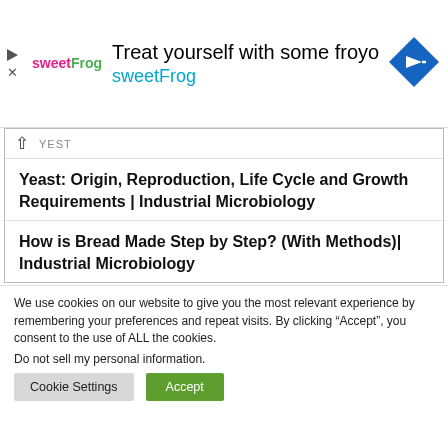[Figure (other): Ad banner for sweetFrog frozen yogurt with logo, headline 'Treat yourself with some froyo', brand name 'sweetFrog', and a blue navigation icon]
YEST
Yeast: Origin, Reproduction, Life Cycle and Growth Requirements | Industrial Microbiology
How is Bread Made Step by Step? (With Methods)| Industrial Microbiology
We use cookies on our website to give you the most relevant experience by remembering your preferences and repeat visits. By clicking “Accept”, you consent to the use of ALL the cookies.
Do not sell my personal information.